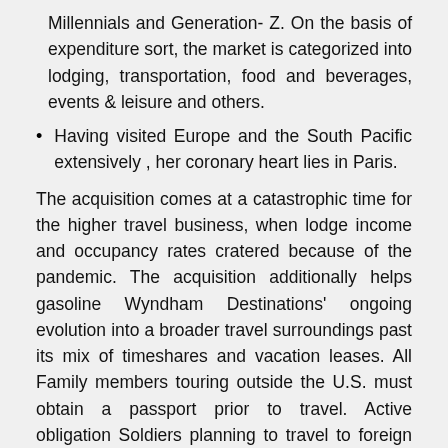Millennials and Generation- Z. On the basis of expenditure sort, the market is categorized into lodging, transportation, food and beverages, events & leisure and others.
Having visited Europe and the South Pacific extensively , her coronary heart lies in Paris.
The acquisition comes at a catastrophic time for the higher travel business, when lodge income and occupancy rates cratered because of the pandemic. The acquisition additionally helps gasoline Wyndham Destinations' ongoing evolution into a broader travel surroundings past its mix of timeshares and vacation leases. All Family members touring outside the U.S. must obtain a passport prior to travel. Active obligation Soldiers planning to travel to foreign international locations for R & R should visit the DoD Foreign Clearance Guide for required documents for that particular nation. This press release accommodates ahead-trying statements throughout the which means of